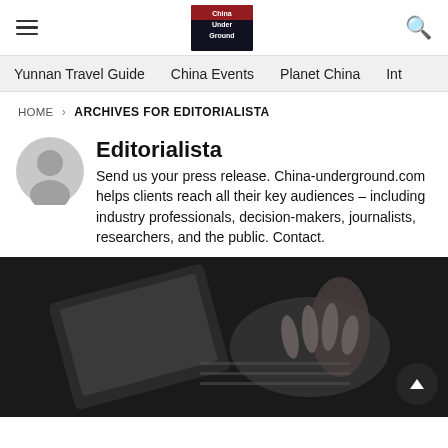China Underground — site header with hamburger menu, logo, and search icon
Navigation: Yunnan Travel Guide | China Events | Planet China | Int...
HOME › ARCHIVES FOR EDITORIALISTA
Editorialista
Send us your press release. China-underground.com helps clients reach all their key audiences – including industry professionals, decision-makers, journalists, researchers, and the public. Contact.
[Figure (photo): Black and white photo of a person typing on a laptop keyboard, viewed from above at an angle]